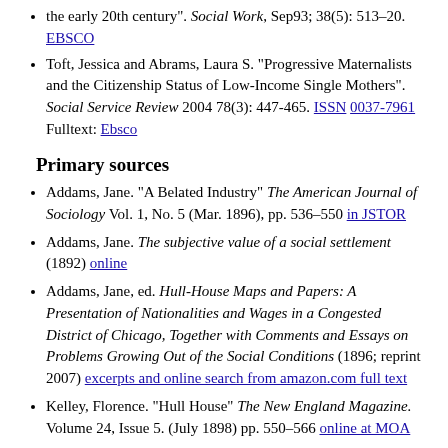the early 20th century". Social Work, Sep93; 38(5): 513–20. EBSCO
Toft, Jessica and Abrams, Laura S. "Progressive Maternalists and the Citizenship Status of Low-Income Single Mothers". Social Service Review 2004 78(3): 447-465. ISSN 0037-7961 Fulltext: Ebsco
Primary sources
Addams, Jane. "A Belated Industry" The American Journal of Sociology Vol. 1, No. 5 (Mar. 1896), pp. 536–550 in JSTOR
Addams, Jane. The subjective value of a social settlement (1892) online
Addams, Jane, ed. Hull-House Maps and Papers: A Presentation of Nationalities and Wages in a Congested District of Chicago, Together with Comments and Essays on Problems Growing Out of the Social Conditions (1896; reprint 2007) excerpts and online search from amazon.com full text
Kelley, Florence. "Hull House" The New England Magazine. Volume 24, Issue 5. (July 1898) pp. 550–566 online at MOA
Addams, Jane. "Ethical Survivals in Municipal Corruption", International Journal of Ethics Vol. 8, No. 3 (Apr. 1898), pp. 273–291 in JSTOR